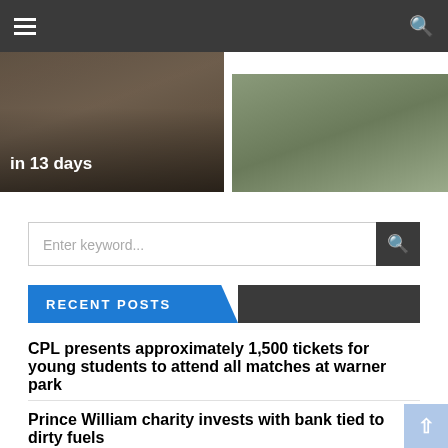Navigation bar with hamburger menu and search icon
[Figure (photo): Two images side by side: left shows rubble/destruction scene with text 'in 13 days' overlay, right shows cricket players' feet and stumps on a pitch]
[Figure (screenshot): Search bar with placeholder 'Enter keyword...' and dark search button with magnifying glass icon]
RECENT POSTS
CPL presents approximately 1,500 tickets for young students to attend all matches at warner park
Prince William charity invests with bank tied to dirty fuels
Sands says NACAC must rebrand